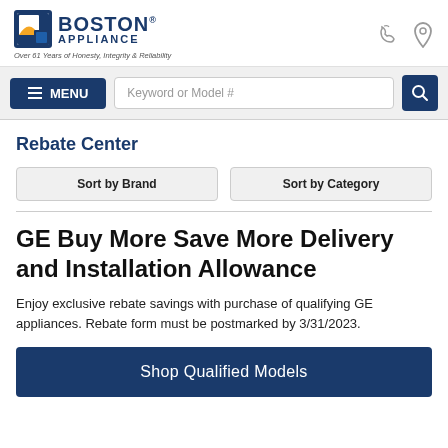[Figure (logo): Boston Appliance logo with blue square icon containing a yellow sun/envelope design, bold navy text 'BOSTON APPLIANCE' with registered trademark symbol, tagline 'Over 61 Years of Honesty, Integrity & Reliability']
MENU
Keyword or Model #
Rebate Center
Sort by Brand
Sort by Category
GE Buy More Save More Delivery and Installation Allowance
Enjoy exclusive rebate savings with purchase of qualifying GE appliances. Rebate form must be postmarked by 3/31/2023.
Shop Qualified Models